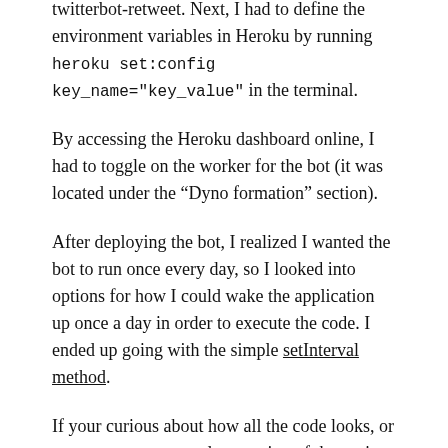twitterbot-retweet. Next, I had to define the environment variables in Heroku by running heroku set:config key_name="key_value" in the terminal.
By accessing the Heroku dashboard online, I had to toggle on the worker for the bot (it was located under the “Dyno formation” section).
After deploying the bot, I realized I wanted the bot to run once every day, so I looked into options for how I could wake the application up once a day in order to execute the code. I ended up going with the simple setInterval method.
If your curious about how all the code looks, or want to see an up-to-date version of the project, you can find it on GitHub.